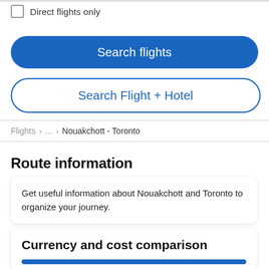Direct flights only
Search flights
Search Flight + Hotel
Flights > ... > Nouakchott - Toronto
Route information
Get useful information about Nouakchott and Toronto to organize your journey.
Currency and cost comparison